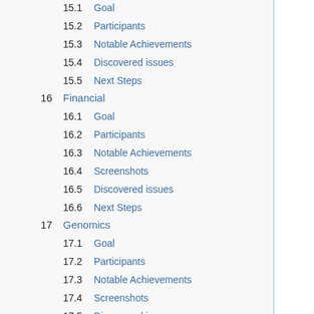15.1  Goal
15.2  Participants
15.3  Notable Achievements
15.4  Discovered issues
15.5  Next Steps
16  Financial
16.1  Goal
16.2  Participants
16.3  Notable Achievements
16.4  Screenshots
16.5  Discovered issues
16.6  Next Steps
17  Genomics
17.1  Goal
17.2  Participants
17.3  Notable Achievements
17.4  Screenshots
17.5  Discovered issues
17.6  Next Steps
18  IHE-on-FHIR